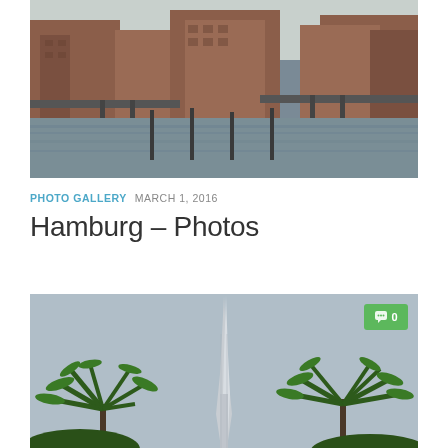[Figure (photo): Speicherstadt Hamburg canal view with red brick warehouses and bridges]
PHOTO GALLERY  MARCH 1, 2016
Hamburg – Photos
[Figure (photo): Burj Khalifa tower viewed from below with palm trees in the foreground against a blue-grey sky, with a green comment badge showing 0 comments]